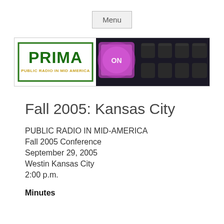Menu
[Figure (logo): PRIMA Public Radio in Mid America logo on left, glowing purple ON keyboard button and dark keyboard keys on right]
Fall 2005: Kansas City
PUBLIC RADIO IN MID-AMERICA
Fall 2005 Conference
September 29, 2005
Westin Kansas City
2:00 p.m.
Minutes